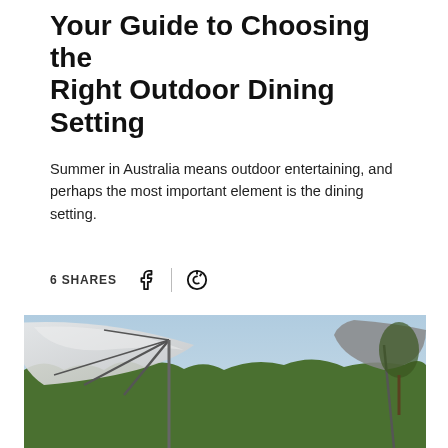Your Guide to Choosing the Right Outdoor Dining Setting
Summer in Australia means outdoor entertaining, and perhaps the most important element is the dining setting.
6 SHARES
[Figure (photo): Outdoor photo showing large white cantilever umbrella with metal frame/spokes over lush green garden foliage, with blue sky in background and another darker umbrella visible on the right side.]